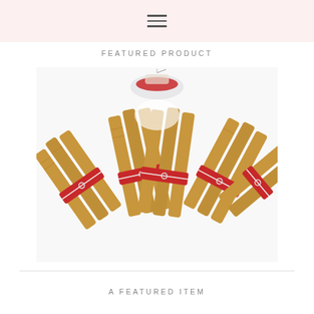≡
FEATURED PRODUCT
[Figure (photo): Bundles of honey-colored beeswax rolled candles tied with red fabric and white twine, arranged in a fan pattern with a decorative element at top center]
A FEATURED ITEM